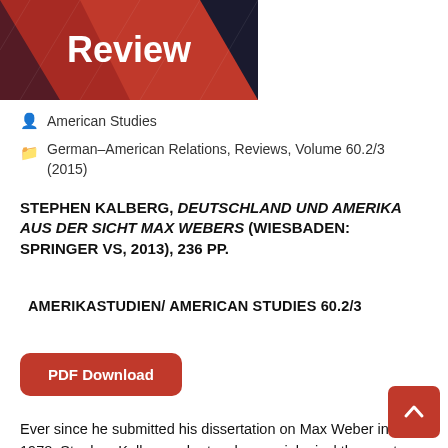[Figure (illustration): Red and dark banner with diagonal lines and the word 'Review' in white bold text]
American Studies
German-American Relations, Reviews, Volume 60.2/3 (2015)
STEPHEN KALBERG, DEUTSCHLAND UND AMERIKA AUS DER SICHT MAX WEBERS (WIESBADEN: SPRINGER VS, 2013), 236 PP.
AMERIKASTUDIEN/ AMERICAN STUDIES 60.2/3
[Figure (other): Red rounded rectangle button labeled 'PDF Download']
Ever since he submitted his dissertation on Max Weber in 1978, Stephen Kalberg, who teaches sociological theory at Boston University, has produced a continuous flow of studies on Weber's work. An